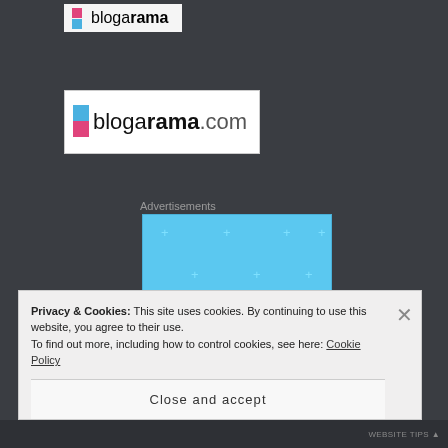[Figure (logo): Blogarama logo — pink and blue squares with bold text on dark background]
[Figure (logo): Blogarama.com logo in white box — pink and blue squares with blogarama.com text]
Advertisements
[Figure (illustration): Blue background advertisement banner with illustrated characters: a document, a person with glasses, and a document list in circular frames, with sparkle/plus decorations]
Privacy & Cookies: This site uses cookies. By continuing to use this website, you agree to their use.
To find out more, including how to control cookies, see here: Cookie Policy
Close and accept